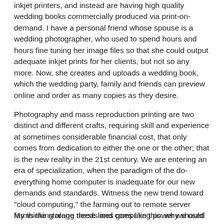inkjet printers, and instead are having high quality wedding books commercially produced via print-on-demand. I have a personal friend whose spouse is a wedding photographer, who used to spend hours and hours fine tuning her image files so that she could output adequate inkjet prints for her clients, but not so any more. Now, she creates and uploads a wedding book, which the wedding party, family and friends can preview online and order as many copies as they desire.
Photography and mass reproduction printing are two distinct and different crafts, requiring skill and experience at sometimes considerable financial cost, that only comes from dedication to either the one or the other; that is the new reality in the 21st century. We are entering an era of specialization, when the paradigm of the do-everything home computer is inadequate for our new demands and standards. Witness the new trend toward "cloud computing," the farming out to remote server farms the storage needs and computing power we used to keep in-house. Now, self-publishing is heading to the Cloud, too.
My thinking along these lines goes like this: why should a